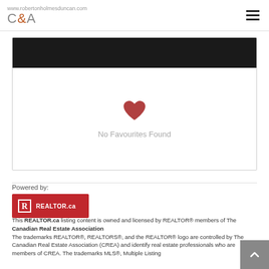www.robertonholmesduncan.com C&A
[Figure (illustration): Dark header bar with white content area below, showing a red heart icon and text 'No Favourites Found']
No Favourites Found
Powered by:
[Figure (logo): REALTOR.ca red logo badge with white R icon and REALTOR.ca text]
This REALTOR.ca listing content is owned and licensed by REALTOR® members of The Canadian Real Estate Association
The trademarks REALTOR®, REALTORS®, and the REALTOR® logo are controlled by The Canadian Real Estate Association (CREA) and identify real estate professionals who are members of CREA. The trademarks MLS®, Multiple Listing